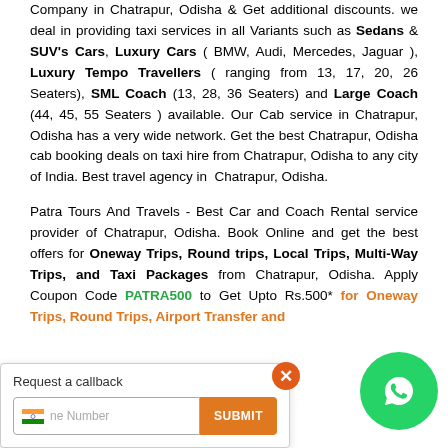Company in Chatrapur, Odisha & Get additional discounts. we deal in providing taxi services in all Variants such as Sedans & SUV's Cars, Luxury Cars ( BMW, Audi, Mercedes, Jaguar ), Luxury Tempo Travellers ( ranging from 13, 17, 20, 26 Seaters), SML Coach (13, 28, 36 Seaters) and Large Coach (44, 45, 55 Seaters ) available. Our Cab service in Chatrapur, Odisha has a very wide network. Get the best Chatrapur, Odisha cab booking deals on taxi hire from Chatrapur, Odisha to any city of India. Best travel agency in Chatrapur, Odisha.
Patra Tours And Travels - Best Car and Coach Rental service provider of Chatrapur, Odisha. Book Online and get the best offers for Oneway Trips, Round trips, Local Trips, Multi-Way Trips, and Taxi Packages from Chatrapur, Odisha. Apply Coupon Code PATRA500 to Get Upto Rs.500* for Oneway Trips, Round Trips, Airport Transfer and
Request a callback
Phone Number
SUBMIT